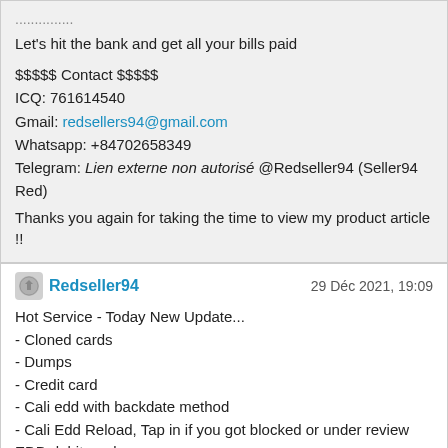...............
Let's hit the bank and get all your bills paid
$$$$$ Contact $$$$$
ICQ: 761614540
Gmail: redsellers94@gmail.com
Whatsapp: +84702658349
Telegram: Lien externe non autorisé @Redseller94 (Seller94 Red)
Thanks you again for taking the time to view my product article !!
Redseller94 — 29 Déc 2021, 19:09
Hot Service - Today New Update...
- Cloned cards
- Dumps
- Credit card
- Cali edd with backdate method
- Cali Edd Reload, Tap in if you got blocked or under review EDD debit card
- Update Scans DL ( driver license ) SSN detail tell me ya
- Pros DL, Info Fullz SSN DOB WITH DL